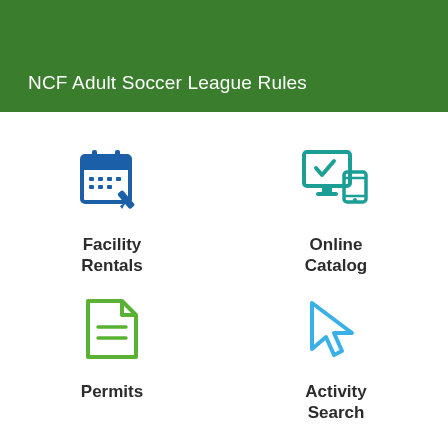NCF Adult Soccer League Rules
[Figure (illustration): Calendar/clipboard icon in blue representing Facility Rentals]
Facility Rentals
[Figure (illustration): Computer monitor with checkmark and tablet icon in teal representing Online Catalog]
Online Catalog
[Figure (illustration): Document/permit icon in green representing Permits]
Permits
[Figure (illustration): Cursor/pointer icon in blue representing Activity Search]
Activity Search